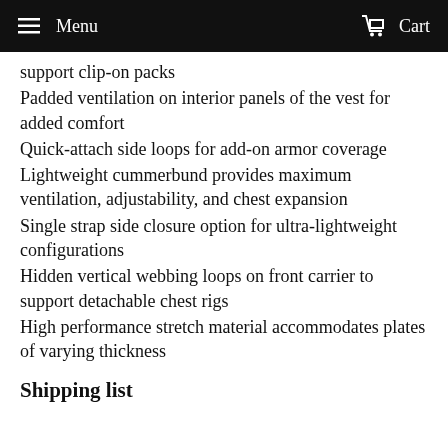Menu  Cart
support clip-on packs
Padded ventilation on interior panels of the vest for added comfort
Quick-attach side loops for add-on armor coverage
Lightweight cummerbund provides maximum ventilation, adjustability, and chest expansion
Single strap side closure option for ultra-lightweight configurations
Hidden vertical webbing loops on front carrier to support detachable chest rigs
High performance stretch material accommodates plates of varying thickness
Shipping list